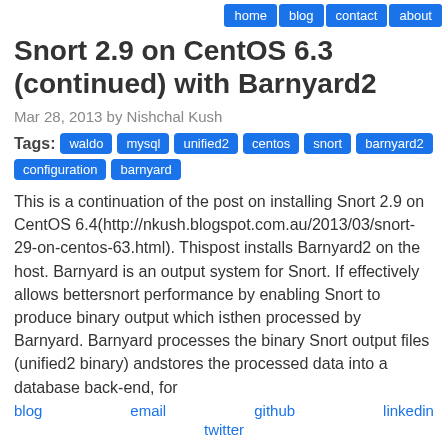home | blog | contact | about
Snort 2.9 on CentOS 6.3 (continued) with Barnyard2
Mar 28, 2013 by Nishchal Kush
Tags: waldo mysql unified2 centos snort barnyard2 configuration barnyard
This is a continuation of the post on installing Snort 2.9 on CentOS 6.4(http://nkush.blogspot.com.au/2013/03/snort-29-on-centos-63.html). Thispost installs Barnyard2 on the host. Barnyard is an output system for Snort. If effectively allows bettersnort performance by enabling Snort to produce binary output which isthen processed by Barnyard. Barnyard processes the binary Snort output files (unified2 binary) andstores the processed data into a database back-end, for
blog  email  github  linkedin  twitter